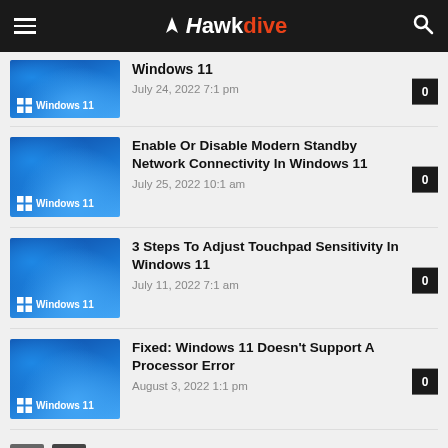Hawkdive
Windows 11 | July 24, 2022 7:1 pm | 0
Enable Or Disable Modern Standby Network Connectivity In Windows 11 | July 25, 2022 10:1 am | 0
3 Steps To Adjust Touchpad Sensitivity In Windows 11 | July 11, 2022 7:1 am | 0
Fixed: Windows 11 Doesn't Support A Processor Error | August 3, 2022 1:1 pm | 0